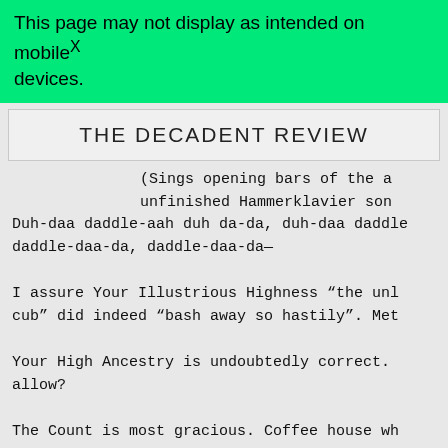This page may not display as intended on mobile devices. X
THE DECADENT REVIEW
(Sings opening bars of the a unfinished Hammerklavier son Duh-daa daddle-aah duh da-da, duh-daa daddle daddle-daa-da, daddle-daa-da—
I assure Your Illustrious Highness “the unl cub” did indeed “bash away so hastily”. Met
Your High Ancestry is undoubtedly correct. allow?
The Count is most gracious. Coffee house wh